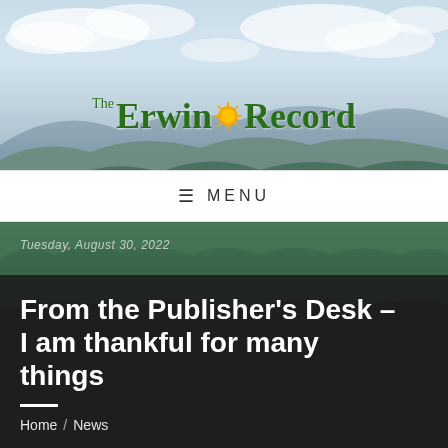[Figure (photo): Aerial/landscape photo of green forested mountains with cloudy sky background — header image for The Erwin Record newspaper website]
The Erwin Record
≡ MENU
Tuesday, August 30, 2022
From the Publisher's Desk – I am thankful for many things
Home / News